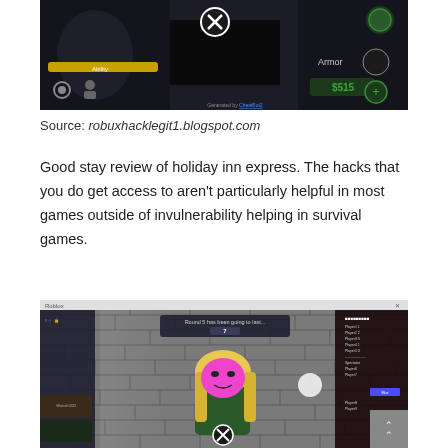[Figure (screenshot): Screenshot of a dark Roblox game interface showing game HUD elements including a yellow health bar labeled 'Ability', circular X button, 'Armor' text, '$515' currency display, gear icon, and player icon. Watermark text 'Generated by CheatBot2' visible at bottom.]
Source: robuxhacklegit1.blogspot.com
Good stay review of holiday inn express. The hacks that you do get access to aren't particularly helpful in most games outside of invulnerability helping in survival games.
[Figure (screenshot): Screenshot of a Roblox game showing a character with a pink/magenta face and blonde hair in a brick-walled corridor. A circular X button is visible below the character. Game UI elements and a scoreboard/list panel appear on the right side. A scroll-to-top button is visible in the bottom right corner.]